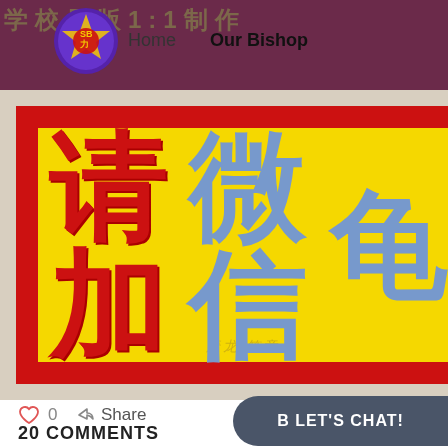[Figure (screenshot): Website navigation bar with purple background, a crest/logo, Home and Our Bishop navigation links, overlaid with partially visible Chinese text background]
[Figure (photo): Red and yellow banner with large Chinese characters reading 请加微信 (Please add WeChat) in red and blue, with a faint watermark underneath]
0
Share
LET'S CHAT!
20 COMMENTS